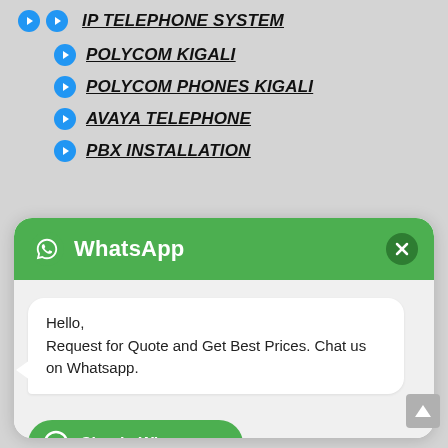IP TELEPHONE SYSTEM
POLYCOM KIGALI
POLYCOM PHONES KIGALI
AVAYA TELEPHONE
PBX INSTALLATION
[Figure (screenshot): WhatsApp chat widget with green header showing WhatsApp logo and title, a message bubble saying 'Hello, Request for Quote and Get Best Prices. Chat us on Whatsapp.', and a 'Chat in Whatsapp' button at the bottom.]